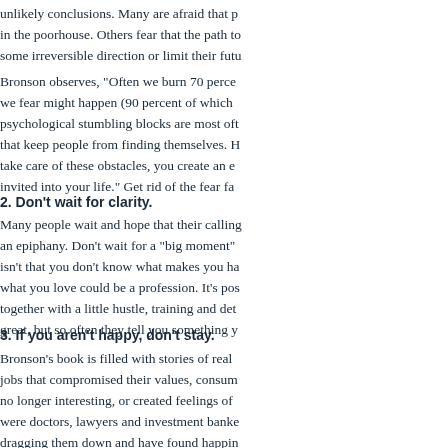unlikely conclusions. Many are afraid that p... in the poorhouse. Others fear that the path to... some irreversible direction or limit their futu...
Bronson observes, "Often we burn 70 perce... we fear might happen (90 percent of which ... psychological stumbling blocks are most oft... that keep people from finding themselves. H... take care of these obstacles, you create an e... invited into your life." Get rid of the fear fa...
2. Don't wait for clarity.
Many people wait and hope that their callin... an epiphany. Don't wait for a "big moment"... isn't that you don't know what makes you ha... what you love could be a profession. It's pos... together with a little hustle, training and det... great, but so often they tell you something y...
3. If you aren't happy, don't stay.
Bronson's book is filled with stories of real ... jobs that compromised their values, consum... no longer interesting, or created feelings of ... were doctors, lawyers and investment banke... dragging them down and have found happin... ...atful for... It ...tself h...